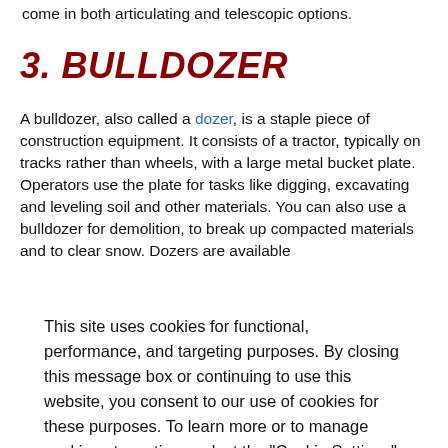come in both articulating and telescopic options.
3. BULLDOZER
A bulldozer, also called a dozer, is a staple piece of construction equipment. It consists of a tractor, typically on tracks rather than wheels, with a large metal bucket plate. Operators use the plate for tasks like digging, excavating and leveling soil and other materials. You can also use a bulldozer for demolition, to break up compacted materials and to clear snow. Dozers are available [text cut off]
This site uses cookies for functional, performance, and targeting purposes. By closing this message box or continuing to use this website, you consent to our use of cookies for these purposes. To learn more or to manage cookies at any time, select the "Cookie Settings" button.
Cookie Settings    Close